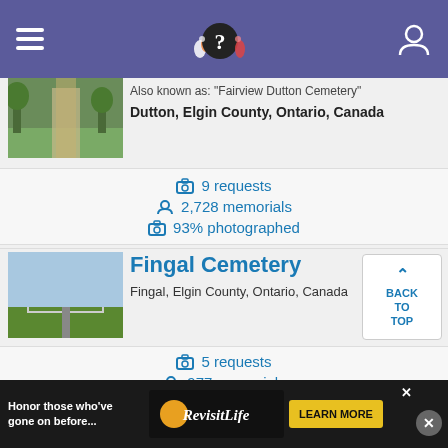Navigation header with menu, logo, and user icon
Also known as: "Fairview Dutton Cemetery"
Dutton, Elgin County, Ontario, Canada
9 requests
2,728 memorials
93% photographed
Fingal Cemetery
Fingal, Elgin County, Ontario, Canada
5 requests
977 memorials
[Figure (screenshot): Back to top button with upward caret]
[Figure (photo): Cemetery entrance road with trees]
[Figure (photo): Fingal Cemetery sign with field background]
Honor those who've gone on before... RevisitLife LEARN MORE advertisement banner